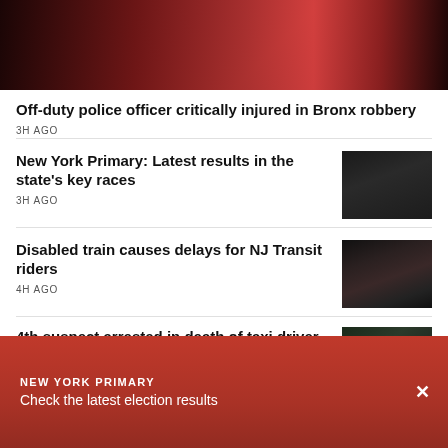[Figure (photo): Dark reddish nighttime photo at top of page, showing emergency or night scene lighting]
Off-duty police officer critically injured in Bronx robbery
3H AGO
New York Primary: Latest results in the state's key races
[Figure (photo): Elderly man in suit, possibly a politician, at a dark event]
3H AGO
Disabled train causes delays for NJ Transit riders
[Figure (photo): Crowded indoor scene, possibly a train station]
4H AGO
4th suspect arrested in death of taxi driver
[Figure (photo): Aerial or outdoor green scene]
NEW YORK PRIMARY
Check the latest election results